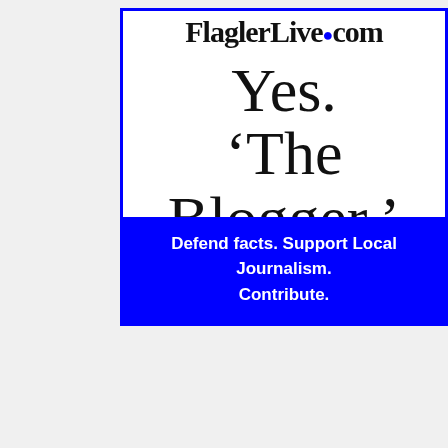[Figure (other): Advertisement box for FlaglerLive.com with white background and blue border. Shows site name at top partially cut off, then large text 'Yes.' and ''The Blogger.'' followed by a blue banner at bottom reading 'Defend facts. Support Local Journalism. Contribute.']